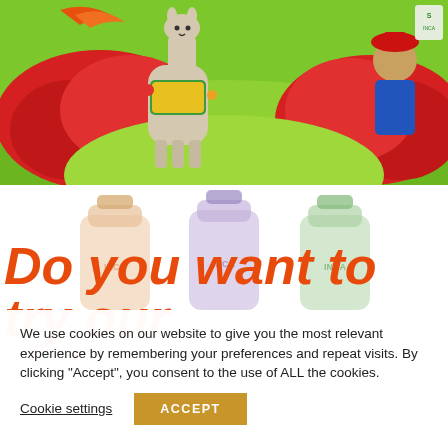[Figure (illustration): Colorful illustrated banner with a llama wearing decorative tassels, red flower fields, green hills, a cartoon child in traditional Andean dress, and a logo in the top right corner.]
[Figure (photo): Three squeeze/pouch product bottles with caps in peach/orange, purple, and green colors, each bearing the INCA brand logo text.]
Do you want to try our delicious products?
We use cookies on our website to give you the most relevant experience by remembering your preferences and repeat visits. By clicking “Accept”, you consent to the use of ALL the cookies.
Cookie settings
ACCEPT